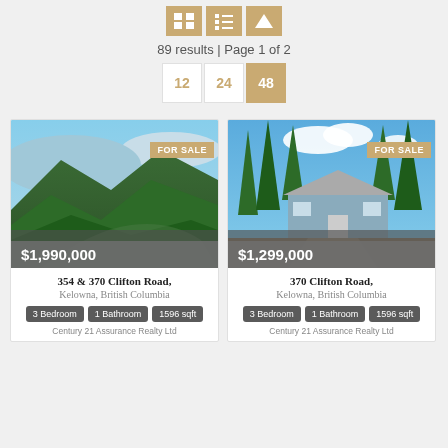89 results | Page 1 of 2
12  24  48
[Figure (photo): Aerial photo of forest and valley, FOR SALE tag, price $1,990,000]
354 & 370 Clifton Road, Kelowna, British Columbia
3 Bedroom  1 Bathroom  1596 sqft
Century 21 Assurance Realty Ltd
[Figure (photo): Photo of ranch-style house among tall pines, FOR SALE tag, price $1,299,000]
370 Clifton Road, Kelowna, British Columbia
3 Bedroom  1 Bathroom  1596 sqft
Century 21 Assurance Realty Ltd